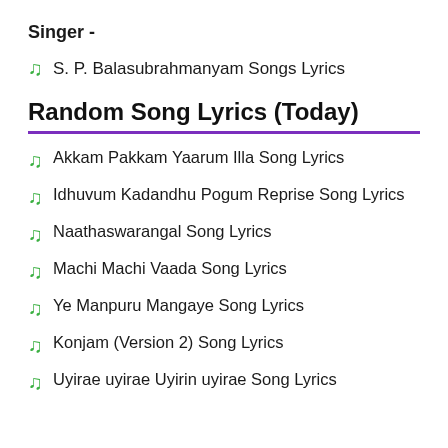Singer -
S. P. Balasubrahmanyam Songs Lyrics
Random Song Lyrics (Today)
Akkam Pakkam Yaarum Illa Song Lyrics
Idhuvum Kadandhu Pogum Reprise Song Lyrics
Naathaswarangal Song Lyrics
Machi Machi Vaada Song Lyrics
Ye Manpuru Mangaye Song Lyrics
Konjam (Version 2) Song Lyrics
Uyirae uyirae Uyirin uyirae Song Lyrics